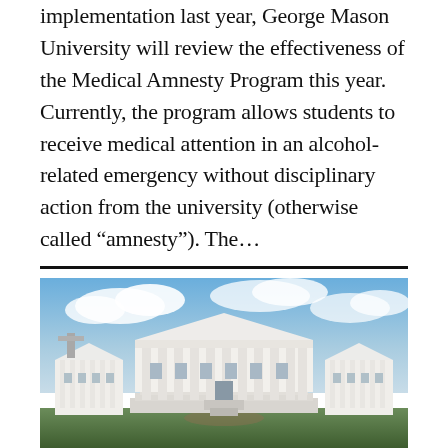implementation last year, George Mason University will review the effectiveness of the Medical Amnesty Program this year. Currently, the program allows students to receive medical attention in an alcohol-related emergency without disciplinary action from the university (otherwise called “amnesty”). The…
[Figure (photo): Photograph of a white neoclassical government building with large columns and a triangular pediment, flanked by two smaller matching wings. Blue sky with clouds in the background, green lawn in the foreground.]